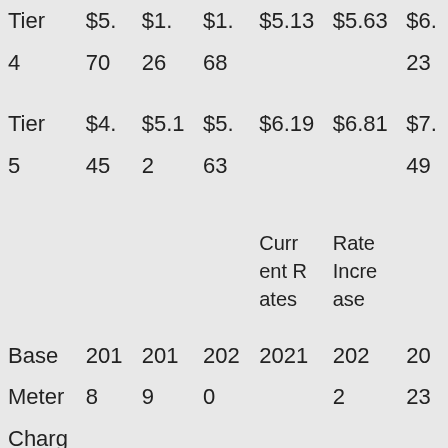|  | 2018 | 2019 | 2020 | 2021 | 2022 | 2023 |
| --- | --- | --- | --- | --- | --- | --- |
| Tier 4 | 70 | 26 | 68 |  |  | 23 |
| Tier 5 | $4.45 | $5.12 | $5.63 | $6.19 | $6.81 | $7.49 |
|  |  |  |  | Current Rates | Rate Increase |  |
| Base Meter Charge | 2018 | 2019 | 2020 | 2021 | 2022 | 2023 |